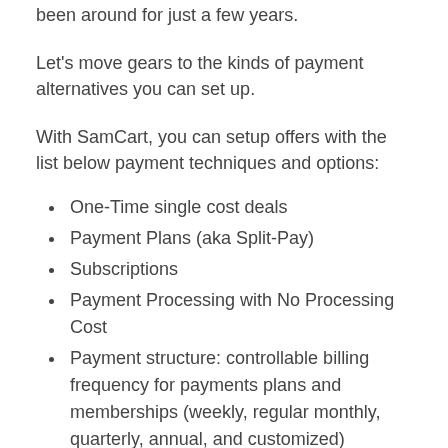been around for just a few years.
Let's move gears to the kinds of payment alternatives you can set up.
With SamCart, you can setup offers with the list below payment techniques and options:
One-Time single cost deals
Payment Plans (aka Split-Pay)
Subscriptions
Payment Processing with No Processing Cost
Payment structure: controllable billing frequency for payments plans and memberships (weekly, regular monthly, quarterly, annual, and customized)
Free Trials